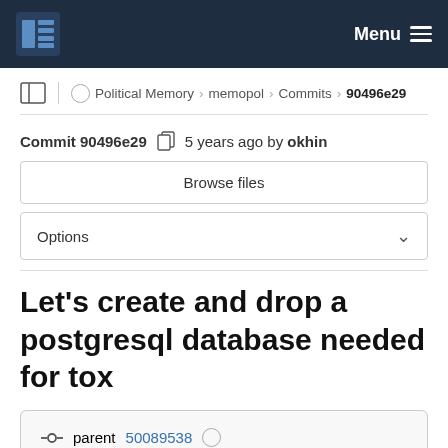Menu
Political Memory › memopol › Commits › 90496e29
Commit 90496e29  5 years ago by okhin
Browse files
Options
Let's create and drop a postgresql database needed for tox
parent 50089538